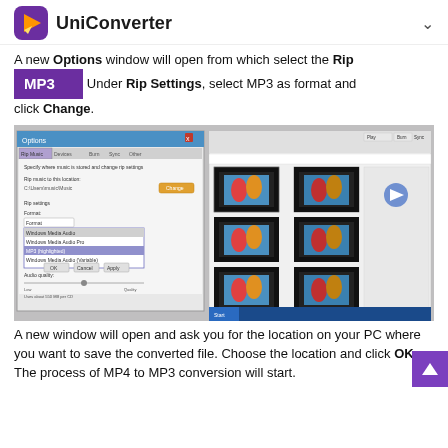UniConverter
A new Options window will open from which select the Rip Settings. Under Rip Settings, select MP3 as format and click Change.
[Figure (screenshot): Screenshot of Windows Media Player Options dialog showing Rip Settings with MP3 format selected, alongside Windows Explorer window with video thumbnails.]
A new window will open and ask you for the location on your PC where you want to save the converted file. Choose the location and click OK. The process of MP4 to MP3 conversion will start.